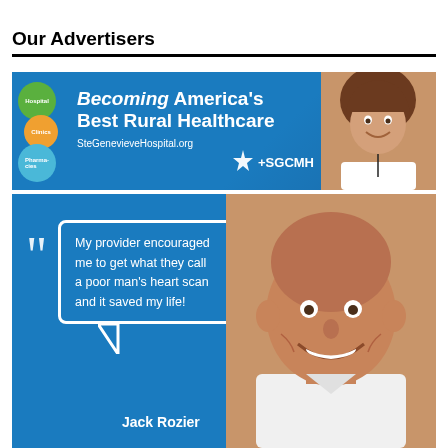Our Advertisers
[Figure (illustration): Advertisement for Ste. Genevieve County Memorial Hospital (SGCMH) — blue banner with text 'Becoming America's Best Rural Healthcare', website SteGenevieveHospital.org, SGCMH logo, overlapping circles labeled Hospital, Clinics, Pharmacies, and a photo of a smiling woman.]
[Figure (illustration): Advertisement featuring a testimonial quote from Jack Rozier: 'My provider encouraged me to get what they call a poor man's heart scan and it saved my life!' with large quotation marks and a photo of an older smiling bald man on a blue background.]